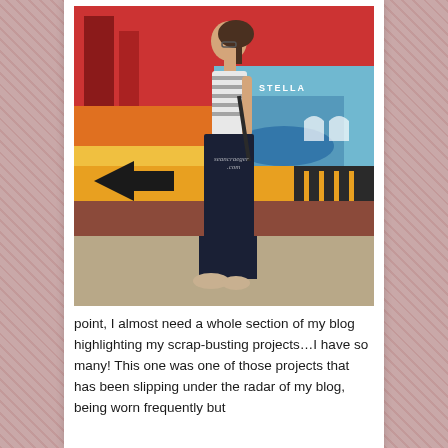[Figure (photo): A woman standing in profile view on a sidewalk in front of a colorful mural on a brick building. She is wearing a black and white striped sleeveless top and wide-leg dark navy pants with nude shoes. The mural features bold graphic shapes in red, orange, yellow, and blue with geometric patterns. Text 'STELLA' is visible on the mural. A watermark 'seancraeger.com' appears on the image.]
point, I almost need a whole section of my blog highlighting my scrap-busting projects…I have so many! This one was one of those projects that has been slipping under the radar of my blog, being worn frequently but